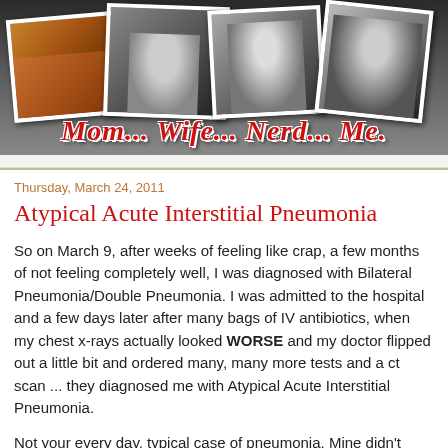[Figure (photo): Blog header banner with four polaroid-style photos of people and the blog title 'Mom... Wife... Nerd... Me.' in red italic text with white outline]
Thursday, March 24, 2011
Atypical Acute Interstitial Pneumonia
So on March 9, after weeks of feeling like crap, a few months of not feeling completely well, I was diagnosed with Bilateral Pneumonia/Double Pneumonia. I was admitted to the hospital and a few days later after many bags of IV antibiotics, when my chest x-rays actually looked WORSE and my doctor flipped out a little bit and ordered many, many more tests and a ct scan ... they diagnosed me with Atypical Acute Interstitial Pneumonia.
Not your every day, typical case of pneumonia. Mine didn't